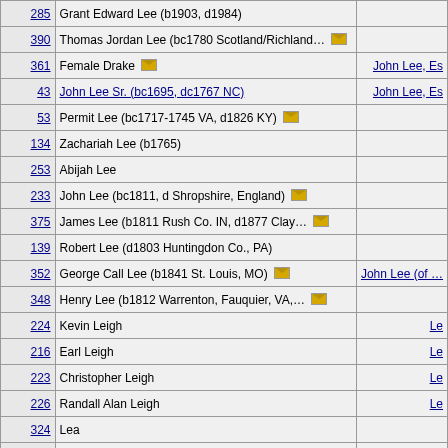| ID | Name | Parent |
| --- | --- | --- |
| 285 | Grant Edward Lee (b1903, d1984) |  |
| 390 | Thomas Jordan Lee (bc1780 Scotland/Richland… ✉ |  |
| 361 | Female Drake ✉ | John Lee, Es |
| 43 | John Lee Sr. (bc1695, dc1767 NC) | John Lee, Es |
| 53 | Permit Lee (bc1717-1745 VA, d1826 KY) ✉ |  |
| 134 | Zachariah Lee (b1765) |  |
| 253 | Abijah Lee |  |
| 233 | John Lee (bc1811, d Shropshire, England) ✉ |  |
| 375 | James Lee (b1811 Rush Co. IN, d1877 Clay… ✉ |  |
| 139 | Robert Lee (d1803 Huntingdon Co., PA) |  |
| 352 | George Call Lee (b1841 St. Louis, MO) ✉ | John Lee (of … |
| 348 | Henry Lee (b1812 Warrenton, Fauquier, VA,… ✉ |  |
| 224 | Kevin Leigh | Le |
| 216 | Earl Leigh | Le |
| 223 | Christopher Leigh | Le |
| 226 | Randall Alan Leigh | Le |
| 324 | Lea |  |
| 221 | Richard Leigh | Le |
| 222 | William Leigh | Le |
| 166 | Francis Leigh (bc 1616 VA, dc1683) ✉ |  |
| 220 | John Leigh | Le |
| 219 | Russell Leigh | Le |
| 169 | David Lee (b1751? SC?, dc1828 Bulloch Co.,… ✉ |  |
| 331 | John Lee (m Lucy Braxton) | John Lee (of … |